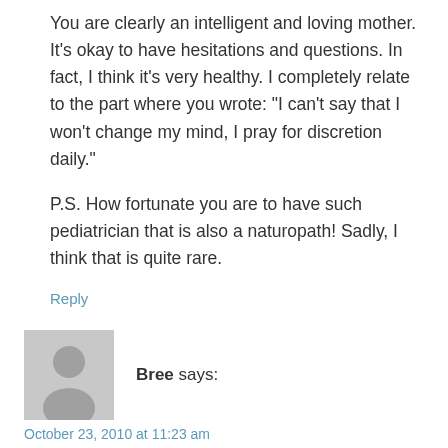You are clearly an intelligent and loving mother. It's okay to have hesitations and questions. In fact, I think it's very healthy. I completely relate to the part where you wrote: "I can't say that I won't change my mind, I pray for discretion daily."

P.S. How fortunate you are to have such pediatrician that is also a naturopath! Sadly, I think that is quite rare.
Reply
[Figure (illustration): Grey placeholder avatar icon showing a generic user silhouette (head and shoulders) on a light grey background]
Bree says:
October 23, 2010 at 11:23 am